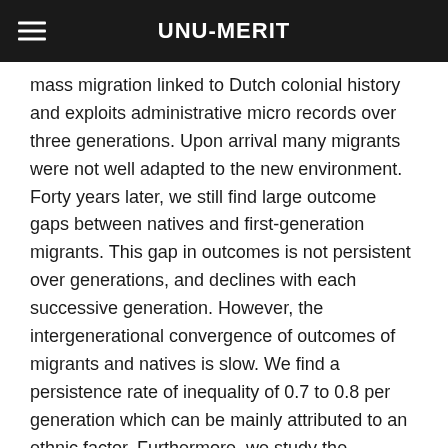UNU-MERIT
mass migration linked to Dutch colonial history and exploits administrative micro records over three generations. Upon arrival many migrants were not well adapted to the new environment. Forty years later, we still find large outcome gaps between natives and first-generation migrants. This gap in outcomes is not persistent over generations, and declines with each successive generation. However, the intergenerational convergence of outcomes of migrants and natives is slow. We find a persistence rate of inequality of 0.7 to 0.8 per generation which can be mainly attributed to an ethnic factor. Furthermore, we study the potential impact of selection of migrants by comparing outcomes of regular self-selected migrants with outcomes of individuals from the mass migration. We find that selection of migrants matters for the economic integration of the first generation but is less important for the